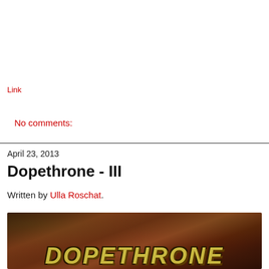Link
No comments:
April 23, 2013
Dopethrone - III
Written by Ulla Roschat.
[Figure (photo): Album art for Dopethrone showing graffiti-style text 'DOPETHRONE' on a dark reddish-brown background with leaf motifs]